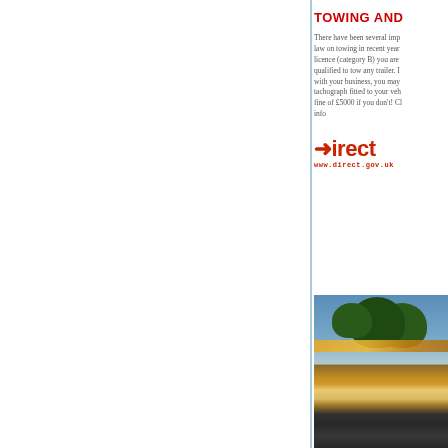TOWING AND
There have been several important changes to the law on towing in recent years. If you have a standard licence (category B) you are not automatically qualified to tow any trailer. If towing is associated with your business, you may also need to have a tachograph fitted to your vehicle — there can be a fine of £5000 if you don't! Click here for more info
[Figure (logo): Direct.gov logo with arrow and URL www.direct.gov.uk]
[Figure (photo): Photo of a low-loader trailer/transporter truck with yellow construction equipment, photographed at dusk with trees in background]